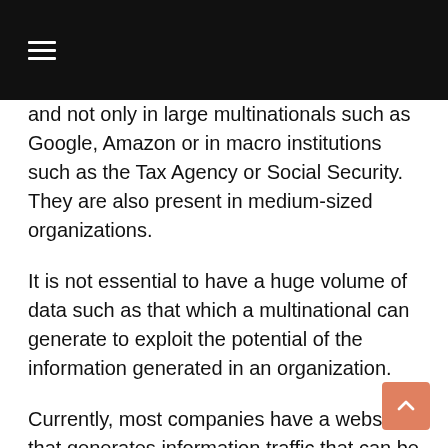≡
and not only in large multinationals such as Google, Amazon or in macro institutions such as the Tax Agency or Social Security. They are also present in medium-sized organizations.
It is not essential to have a huge volume of data such as that which a multinational can generate to exploit the potential of the information generated in an organization.
Currently, most companies have a website that generates information traffic that can be analyzed by a Data Scientist.
Any company, regardless of size, generates data